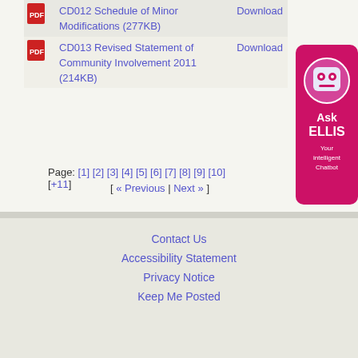| Icon | Document | Action |
| --- | --- | --- |
| [pdf icon] | CD012 Schedule of Minor Modifications (277KB) | Download |
| [pdf icon] | CD013 Revised Statement of Community Involvement 2011 (214KB) | Download |
Page: [1] [2] [3] [4] [5] [6] [7] [8] [9] [10] [+11]
[ « Previous | Next » ]
Contact Us
Accessibility Statement
Privacy Notice
Keep Me Posted